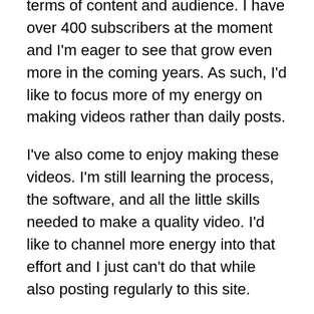terms of content and audience. I have over 400 subscribers at the moment and I'm eager to see that grow even more in the coming years. As such, I'd like to focus more of my energy on making videos rather than daily posts.
I've also come to enjoy making these videos. I'm still learning the process, the software, and all the little skills needed to make a quality video. I'd like to channel more energy into that effort and I just can't do that while also posting regularly to this site.
I'm sorry if this news disappoints some. I know a few friends and family members were regular readers. I still hope to provide content. Some of the content on my YouTube channel is very similar to the kind of stuff I've written about on this site. With videos, though, I can add